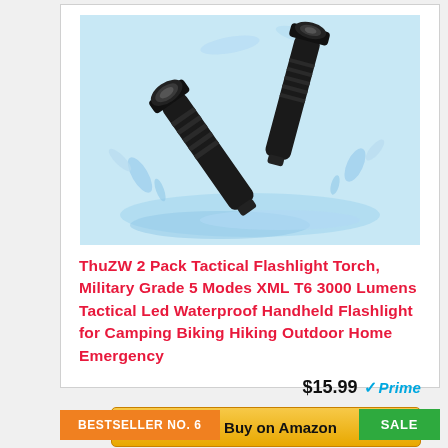[Figure (photo): Two black tactical flashlights crossed over each other with water splash background]
ThuZW 2 Pack Tactical Flashlight Torch, Military Grade 5 Modes XML T6 3000 Lumens Tactical Led Waterproof Handheld Flashlight for Camping Biking Hiking Outdoor Home Emergency
$15.99 Prime
Buy on Amazon
BESTSELLER NO. 6
SALE